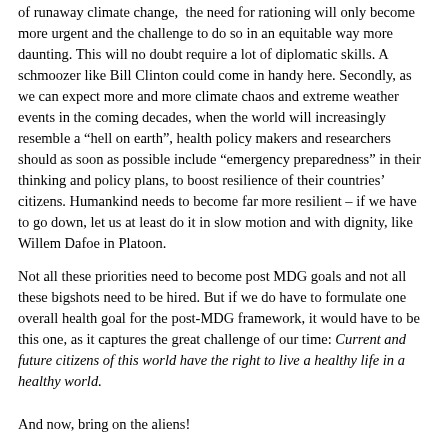of runaway climate change, the need for rationing will only become more urgent and the challenge to do so in an equitable way more daunting. This will no doubt require a lot of diplomatic skills. A schmoozer like Bill Clinton could come in handy here. Secondly, as we can expect more and more climate chaos and extreme weather events in the coming decades, when the world will increasingly resemble a “hell on earth”, health policy makers and researchers should as soon as possible include “emergency preparedness” in their thinking and policy plans, to boost resilience of their countries’ citizens. Humankind needs to become far more resilient – if we have to go down, let us at least do it in slow motion and with dignity, like Willem Dafoe in Platoon.
Not all these priorities need to become post MDG goals and not all these bigshots need to be hired. But if we do have to formulate one overall health goal for the post-MDG framework, it would have to be this one, as it captures the great challenge of our time: Current and future citizens of this world have the right to live a healthy life in a healthy world.
And now, bring on the aliens!
DH & KD